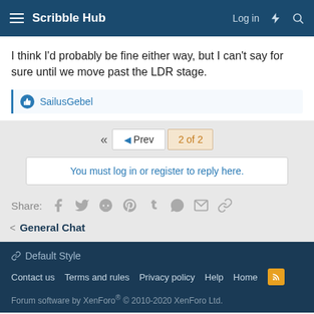Scribble Hub — Log in
I think I'd probably be fine either way, but I can't say for sure until we move past the LDR stage.
SailusGebel
◄  ◄ Prev  2 of 2
You must log in or register to reply here.
Share:
< General Chat
🔗 Default Style
Contact us  Terms and rules  Privacy policy  Help  Home
Forum software by XenForo® © 2010-2020 XenForo Ltd.